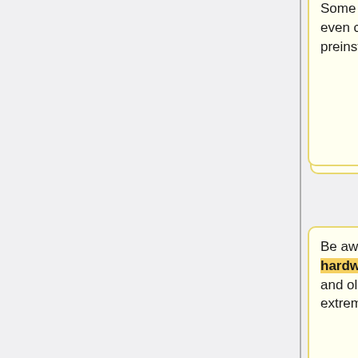Some listings even come with drives preinstalled.
Some rackmount servers will even come with drives preinstalled.
Be aware though, rack mount hardware is usually pretty loud and older Xeons can be extremely energy inefficient.
Be aware though, rackmount servers are usually pretty loud, and many older Xeons can